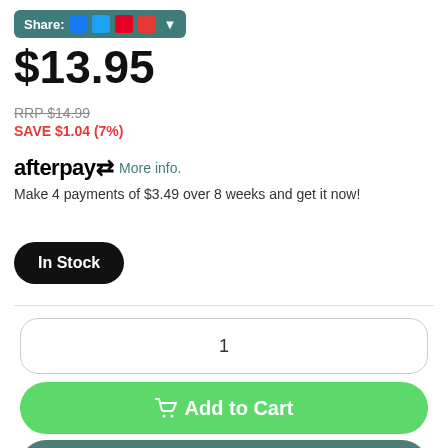[Figure (screenshot): Share bar with social media icons (Facebook, Twitter, Pinterest, Email) on teal background with dropdown arrow]
$13.95
RRP $14.99
SAVE $1.04 (7%)
afterpay More info.
Make 4 payments of $3.49 over 8 weeks and get it now!
In Stock
1
Add to Cart
Wishlist